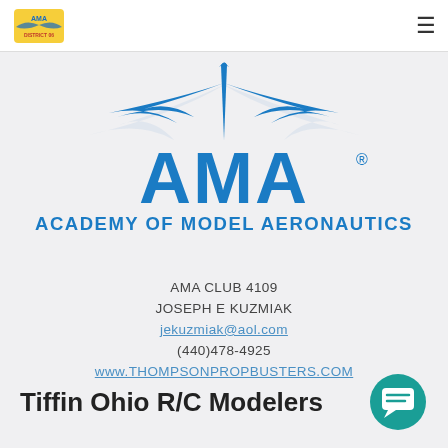[Figure (logo): Small AMA club logo in top-left navigation bar]
[Figure (logo): AMA - Academy of Model Aeronautics large blue logo with wings and stylized pen/quill]
AMA CLUB 4109
JOSEPH E KUZMIAK
jekuzmiak@aol.com
(440)478-4925
www.THOMPSONPROPBUSTERS.COM
Tiffin Ohio R/C Modelers